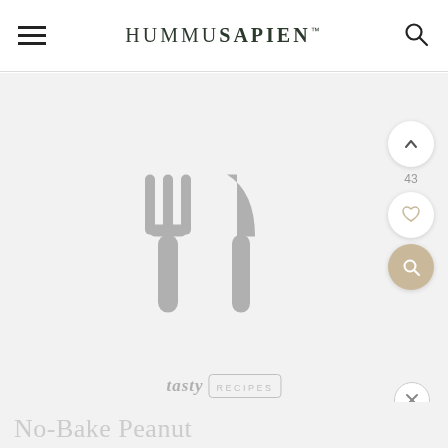HUMMUSAPIEN
[Figure (screenshot): Website screenshot of HummuSapien recipe blog. Header with hamburger menu, logo 'HUMMUSAPIEN' and search icon. Below is a light gray content area showing a Tasty Recipes plugin placeholder with fork and knife icon. Right side has scroll-up button (43), heart/save button, and search button. Bottom shows start of title 'No-Bake Peanut...' and a close (X) button.]